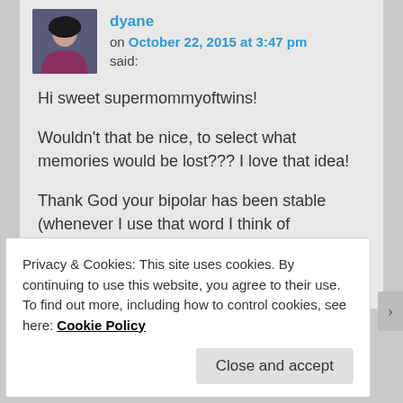dyane
on October 22, 2015 at 3:47 pm
said:
Hi sweet supermommyoftwins!
Wouldn't that be nice, to select what memories would be lost??? I love that idea!
Thank God your bipolar has been stable (whenever I use that word I think of horses….I can't help it. Neigh!) TMS does sound intriguing and 2 local, progressive
Privacy & Cookies: This site uses cookies. By continuing to use this website, you agree to their use.
To find out more, including how to control cookies, see here: Cookie Policy
Close and accept